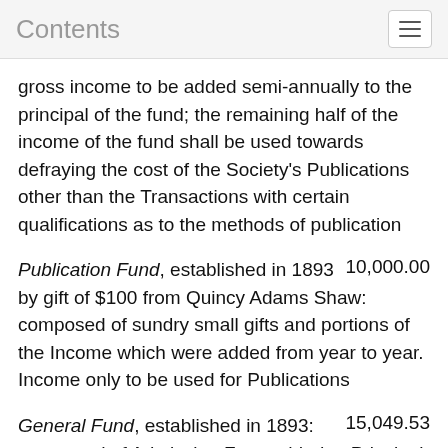Contents
gross income to be added semi-annually to the principal of the fund; the remaining half of the income of the fund shall be used towards defraying the cost of the Society's Publications other than the Transactions with certain qualifications as to the methods of publication
Publication Fund, established in 1893 by gift of $100 from Quincy Adams Shaw: composed of sundry small gifts and portions of the Income which were added from year to year. Income only to be used for Publications 10,000.00
General Fund, established in 1893: composed of Admission Fees added to Principal, Gains on Sale of Securities, etc. Income only to be used for Current 15,049.53